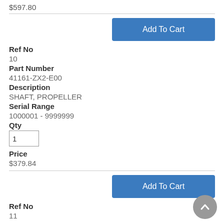$597.80
Add To Cart
Ref No
10
Part Number
41161-ZX2-E00
Description
SHAFT, PROPELLER
Serial Range
1000001 - 9999999
Qty
1
Price
$379.84
Add To Cart
Ref No
11